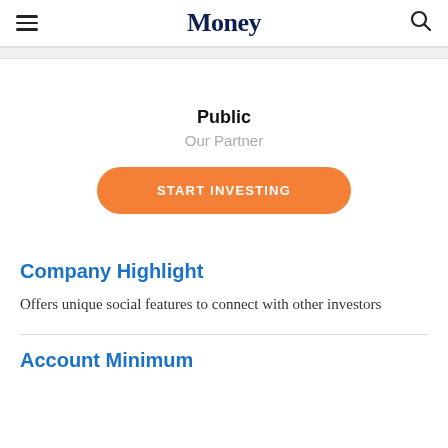Money
Public
Our Partner
START INVESTING
Company Highlight
Offers unique social features to connect with other investors
Account Minimum